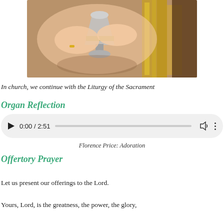[Figure (photo): Hands holding a silver chalice/goblet in a church setting, with golden religious objects in the background]
In church, we continue with the Liturgy of the Sacrament
Organ Reflection
[Figure (other): Audio player widget showing 0:00 / 2:51 with play button, progress bar, volume and more controls]
Florence Price: Adoration
Offertory Prayer
Let us present our offerings to the Lord.
Yours, Lord, is the greatness, the power, the glory,